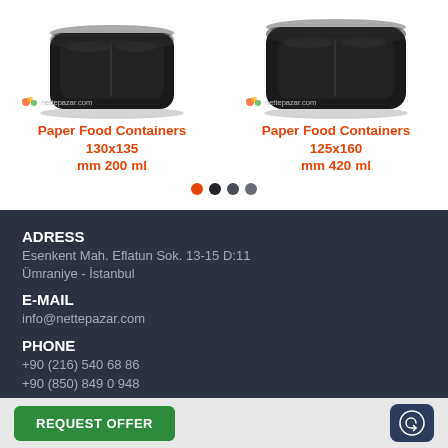[Figure (photo): Black plastic food tray container, top view, on white background with nettepazar.com watermark]
Paper Food Containers 130x135 mm 200 ml
[Figure (photo): Black plastic food tray container, top view, on white background with nettepazar.com watermark]
Paper Food Containers 125x160 mm 420 ml
ADRESS
Esenkent Mah. Eflatun Sok. 13-15 D:11
Ümraniye - İstanbul
E-MAIL
info@nettepazar.com
PHONE
+90 (216) 540 68 86
+90 (850) 849 0 948
MOBILE PHONE
REQUEST OFFER